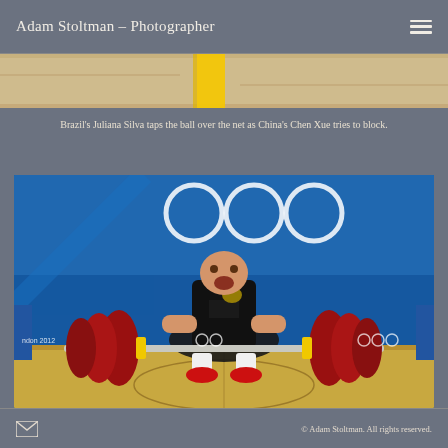Adam Stoltman – Photographer
[Figure (photo): Partial top strip of a beach volleyball image showing the net area, sandy court and a yellow object]
Brazil's Juliana Silva taps the ball over the net as China's Chen Xue tries to block.
Purchase Info
[Figure (photo): A weightlifter wearing a black German team jersey and red shoes crouches to lift a heavy barbell with large red weights at the London 2012 Olympics venue, with Olympic rings visible in the blue background]
© Adam Stoltman. All rights reserved.